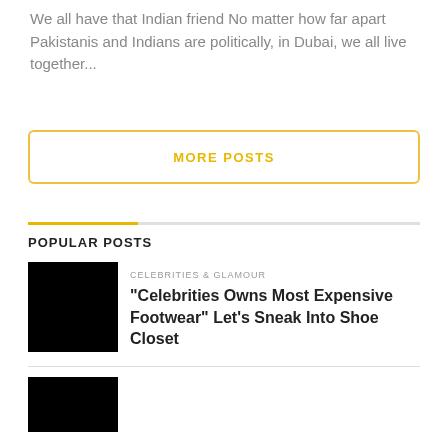We all have that Indian friend No matter how far apart Pakistanis and Indians are politically, in Dubai, we all live together...
MORE POSTS
POPULAR POSTS
[Figure (photo): Black thumbnail image for a popular post]
CELEBRITIES & GLAMOUR
“Celebrities Owns Most Expensive Footwear” Let’s Sneak Into Shoe Closet
[Figure (photo): Black thumbnail image for a second popular post]